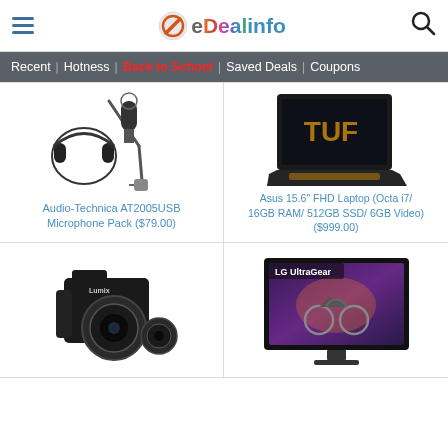eDealinfo — hamburger menu, logo, search icon
Recent | Hotness | Back to School | Saved Deals | Coupons
[Figure (photo): Audio-Technica AT2005USB microphone pack with headphones and boom arm stand]
Audio-Technica AT2005USB Microphone Pack ($79.00)
[Figure (photo): Asus TUF 15.6 inch gaming laptop with orange backlit keyboard]
Asus 15.6" FHD Laptop (Octa i7/ 16GB RAM/ 512GB SSD/ 6GB Video) ($999.00)
[Figure (photo): Panasonic Lumix DSLR camera with two lenses]
[Figure (photo): LG UltraGear gaming monitor displaying motorcycle scene]